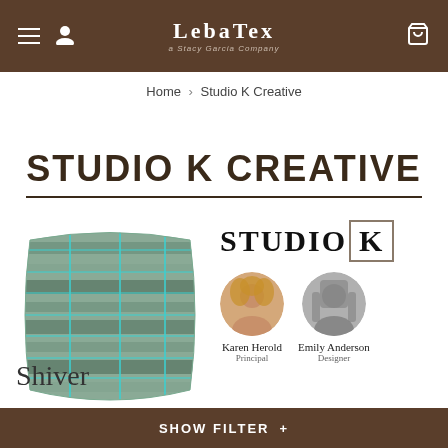LebaTex — a Stacy Garcia Company
Home › Studio K Creative
STUDIO K CREATIVE
[Figure (photo): A decorative pillow with teal/aqua stripe and grid pattern on a green-grey background]
[Figure (logo): Studio K logo with K in a square box, and photos of Karen Herold (Principal) and Emily Anderson (Designer)]
Shiver
SHOW FILTER +